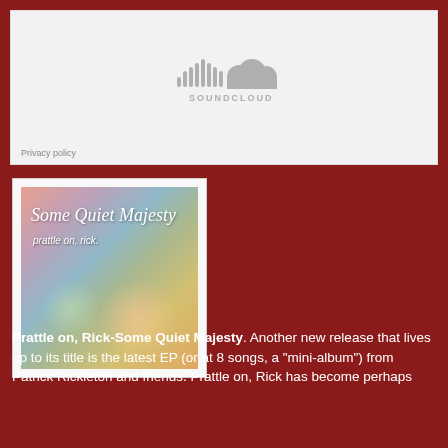[Figure (screenshot): SoundCloud embedded player widget with SoundCloud logo (sound wave bars and cloud icon) in gray on light gray background]
Privacy policy
[Figure (photo): Album cover art for 'Some Quiet Majesty' by Prattle on, Rick. Colorful bokeh/abstract background in pink, teal, green, yellow tones with cursive title text and subtitle text on the cover, displayed in a white frame.]
Prattle on, Rick-Some Quiet Majesty. Another new release that lives up to its title is the latest EP (or at 8 songs, a "mini-album") from Patrick Rickleton and friends. Prattle on, Rick has become perhaps